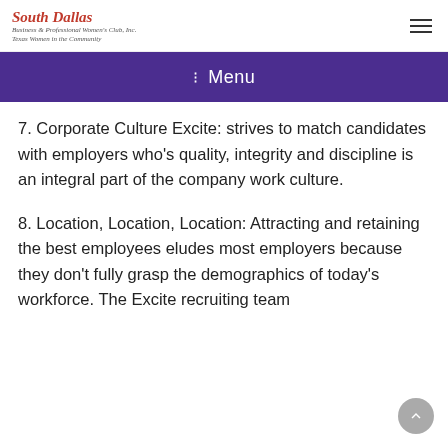South Dallas Business & Professional Women's Club, Inc. Texas Women in the Community
≡ Menu
7. Corporate Culture Excite: strives to match candidates with employers who's quality, integrity and discipline is an integral part of the company work culture.
8. Location, Location, Location: Attracting and retaining the best employees eludes most employers because they don't fully grasp the demographics of today's workforce. The Excite recruiting team